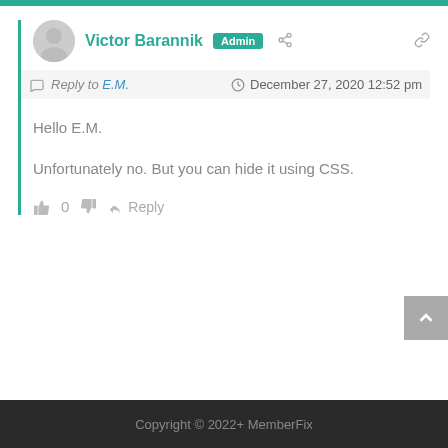Victor Barannik Admin
Reply to E.M.   December 27, 2020 12:52 pm
Hello E.M.
Unfortunately no. But you can hide it using CSS.
0   Reply
Copyright © 2022+ MemberFix